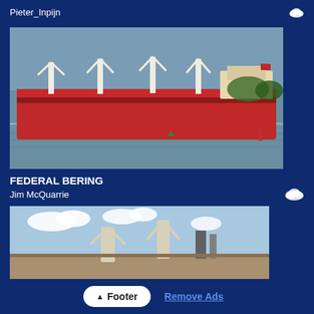Pieter_Inpijn
[Figure (photo): Large red bulk carrier ship with white cranes sailing on grey-blue water, with green buoy and trees visible in background.]
FEDERAL BERING
Jim McQuarrie
[Figure (photo): Partial view of a ship with white cranes against a blue sky with clouds.]
Footer  Remove Ads